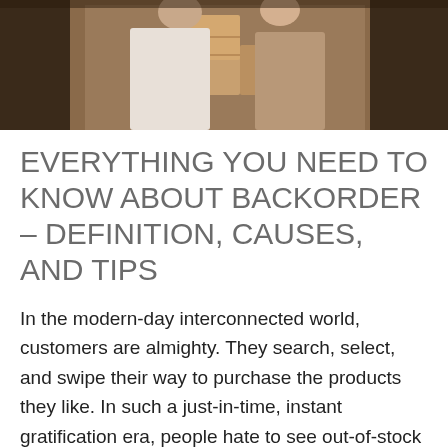[Figure (photo): Two people holding cardboard boxes, partially visible from mid-torso up, warm brown tones suggesting a moving or shipping scene]
EVERYTHING YOU NEED TO KNOW ABOUT BACKORDER – DEFINITION, CAUSES, AND TIPS
In the modern-day interconnected world, customers are almighty. They search, select, and swipe their way to purchase the products they like. In such a just-in-time, instant gratification era, people hate to see out-of-stock notifications. Nevertheless, sometimes due to issues in the supply chain, an item goes out of stock. Now you